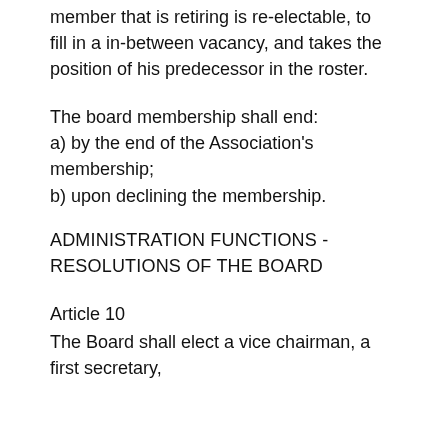member that is retiring is re-electable, to fill in a in-between vacancy, and takes the position of his predecessor in the roster.
The board membership shall end:
a) by the end of the Association's membership;
b) upon declining the membership.
ADMINISTRATION FUNCTIONS - RESOLUTIONS OF THE BOARD
Article 10
The Board shall elect a vice chairman, a first secretary,